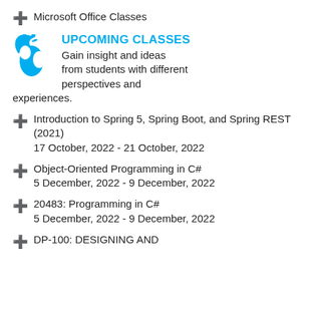Microsoft Office Classes
[Figure (logo): Apple logo in cyan/blue color]
UPCOMING CLASSES
Gain insight and ideas from students with different perspectives and experiences.
Introduction to Spring 5, Spring Boot, and Spring REST (2021)
17 October, 2022 - 21 October, 2022
Object-Oriented Programming in C#
5 December, 2022 - 9 December, 2022
20483: Programming in C#
5 December, 2022 - 9 December, 2022
DP-100: DESIGNING AND